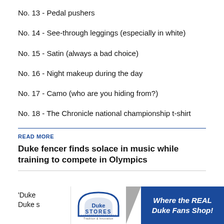No. 13 - Pedal pushers
No. 14 - See-through leggings (especially in white)
No. 15 - Satin (always a bad choice)
No. 16 - Night makeup during the day
No. 17 - Camo (who are you hiding from?)
No. 18 - The Chronicle national championship t-shirt
READ MORE
Duke fencer finds solace in music while training to compete in Olympics
'Duke  n Duke s
[Figure (logo): Duke Stores logo with blue arch and text 'Duke STORES, Tradition & Innovation']
[Figure (infographic): Blue advertisement banner with italic white text: 'Where the REAL Duke Fans Shop!']